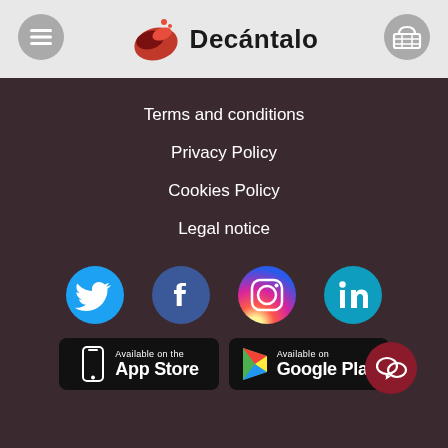Decántalo
Terms and conditions
Privacy Policy
Cookies Policy
Legal notice
[Figure (infographic): Social media icons row: Twitter (blue circle), Facebook (dark blue circle), Instagram (gradient circle), LinkedIn (teal circle)]
[Figure (infographic): App store badges: Available on the App Store and Available on Google Play, with a chat bubble button on the right]